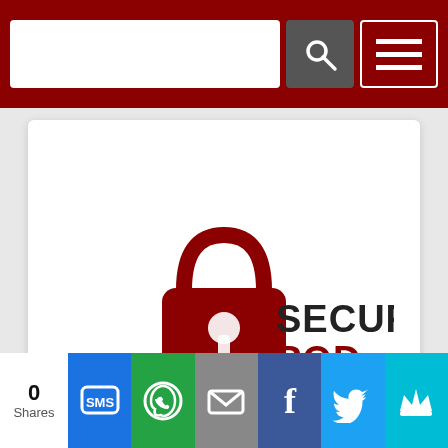SecurPod - A Security Today Podcast website header with search bar and menu
[Figure (logo): SecurPod logo: a dark red padlock shaped like a microphone with text 'SECURPOD - A SECURITY TODAY PODCAST']
SecurPod
Ralph C. Jensen
Latest Episode
See More Episodes ↗
0 Shares | SMS | WhatsApp | Email | Facebook | Twitter | More